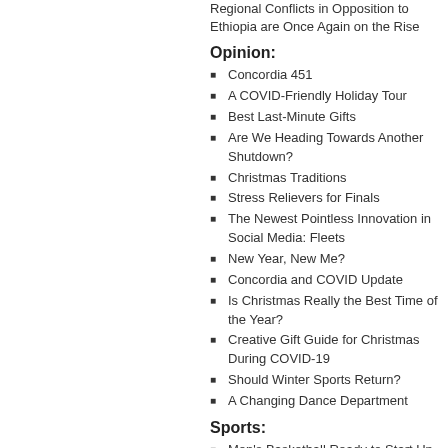Regional Conflicts in Opposition to Ethiopia are Once Again on the Rise
Opinion:
Concordia 451
A COVID-Friendly Holiday Tour
Best Last-Minute Gifts
Are We Heading Towards Another Shutdown?
Christmas Traditions
Stress Relievers for Finals
The Newest Pointless Innovation in Social Media: Fleets
New Year, New Me?
Concordia and COVID Update
Is Christmas Really the Best Time of the Year?
Creative Gift Guide for Christmas During COVID-19
Should Winter Sports Return?
A Changing Dance Department
Sports:
Men's Basketball Ready to Start Up Soon